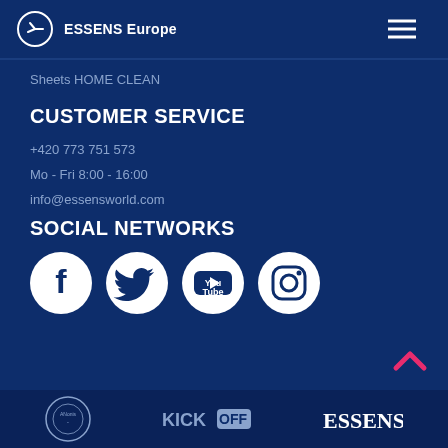ESSENS Europe
Sheets HOME CLEAN
CUSTOMER SERVICE
+420 773 751 573
Mo - Fri 8:00 - 16:00
info@essensworld.com
SOCIAL NETWORKS
[Figure (logo): Social network icons: Facebook, Twitter, YouTube, Instagram]
[Figure (logo): Scroll up chevron button]
[Figure (logo): Footer logos: Alnamis, KICKOFF, ESSENS]